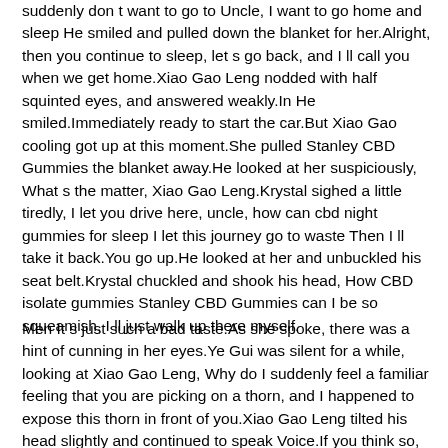suddenly don t want to go to Uncle, I want to go home and sleep He smiled and pulled down the blanket for her.Alright, then you continue to sleep, let s go back, and I ll call you when we get home.Xiao Gao Leng nodded with half squinted eyes, and answered weakly.In He smiled.Immediately ready to start the car.But Xiao Gao cooling got up at this moment.She pulled Stanley CBD Gummies the blanket away.He looked at her suspiciously, What s the matter, Xiao Gao Leng.Krystal sighed a little tiredly, I let you drive here, uncle, how can cbd night gummies for sleep I let this journey go to waste Then I ll take it back.You go up.He looked at her and unbuckled his seat belt.Krystal chuckled and shook his head, How CBD isolate gummies Stanley CBD Gummies can I be so squeamish, I ll just walk up there myself.
Men It s just such a bad taste.As she spoke, there was a hint of cunning in her eyes.Ye Gui was silent for a while, looking at Xiao Gao Leng, Why do I suddenly feel a familiar feeling that you are picking on a thorn, and I happened to expose this thorn in front of you.Xiao Gao Leng tilted his head slightly and continued to speak Voice.If you think so, Stanley CBD Gummies green dolphin cbd